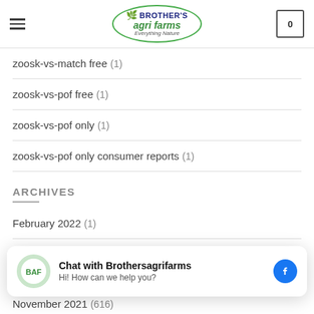Brother's Agri Farms — Everything Nature
zoosk-vs-match free (1)
zoosk-vs-pof free (1)
zoosk-vs-pof only (1)
zoosk-vs-pof only consumer reports (1)
ARCHIVES
February 2022 (1)
November 2021 (616)